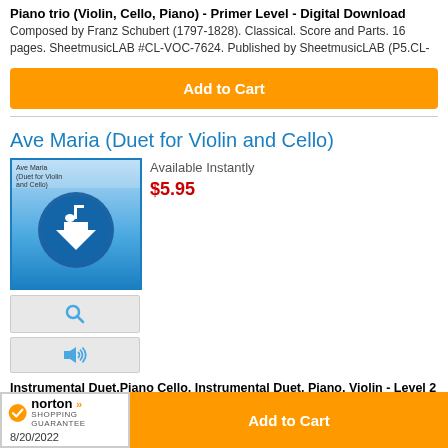Piano trio (Violin, Cello, Piano) - Primer Level - Digital Download
Composed by Franz Schubert (1797-1828). Classical. Score and Parts. 16 pages. SheetmusicLAB #CL-VOC-7624. Published by SheetmusicLAB (P5.CL-
Add to Cart
Ave Maria (Duet for Violin and Cello)
[Figure (illustration): Product image for Ave Maria (Duet for Violin and Cello) - blue gradient cover with circular music download icon (arrow with musical note), plus search and audio preview icon buttons below]
Available Instantly
$5.95
Instrumental Duet,Piano Cello, Instrumental Duet, Piano, Violin - Level 2 - Digital Download
Composed by Franz Schubert (1797-1828). Arranged by Stephen DeCesare.
[Figure (logo): Norton Shopping Guarantee badge with checkmark, brand name and date 8/20/2022]
Add to Cart